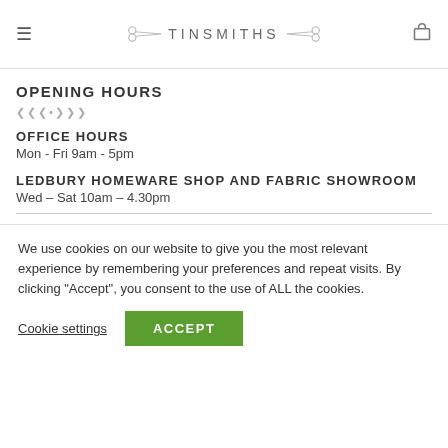TINSMITHS
OPENING HOURS
OFFICE HOURS
Mon - Fri 9am - 5pm
LEDBURY HOMEWARE SHOP AND FABRIC SHOWROOM
Wed – Sat 10am – 4.30pm
We use cookies on our website to give you the most relevant experience by remembering your preferences and repeat visits. By clicking "Accept", you consent to the use of ALL the cookies.
Cookie settings  ACCEPT